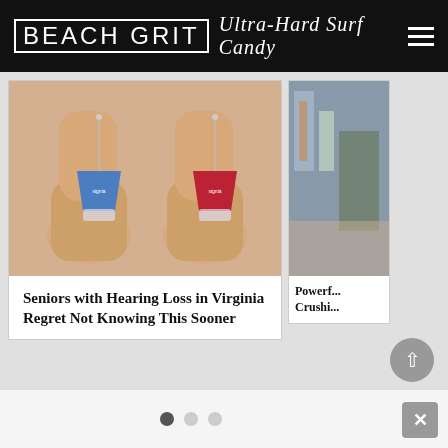BEACH GRIT Ultra-Hard Surf Candy
[Figure (photo): Two small hearing aids (one blue, one red, branded Signia) held between fingers against a skin-tone background]
Seniors with Hearing Loss in Virginia Regret Not Knowing This Sooner
[Figure (photo): Partial image of a person or object, green and beige tones, partially cropped]
Powerf... Crushi...